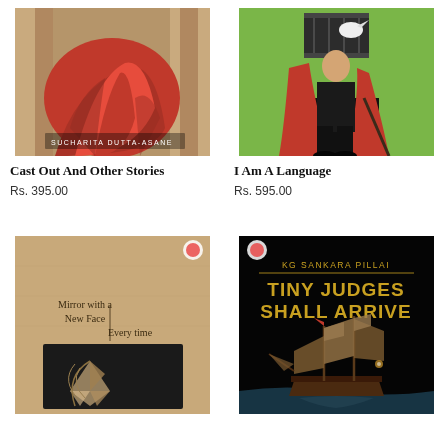[Figure (illustration): Book cover of 'Cast Out And Other Stories' by Sucharita Dutta-Asane, showing a red draped figure/cloth against classical columns]
[Figure (illustration): Book cover of 'I Am A Language', showing a man in red cape seated with a cane, a birdcage above him, against a green background]
Cast Out And Other Stories
Rs. 395.00
I Am A Language
Rs. 595.00
[Figure (illustration): Book cover with brown/kraft paper background, titled 'Mirror with a New Face Every time', featuring a dark panel with crescent moon and crystalline/faceted gem illustration]
[Figure (illustration): Book cover 'Tiny Judges Shall Arrive' by KG Sankara Pillai, dark background with gold text and an illustration of a tall ship at sea]